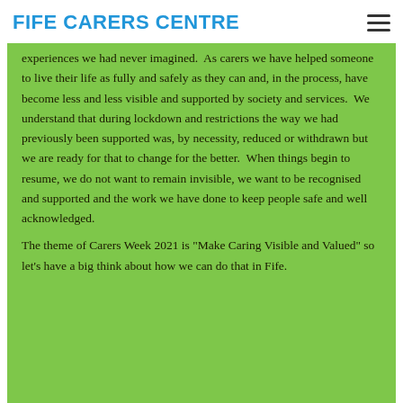FIFE CARERS CENTRE
experiences we had never imagined.  As carers we have helped someone to live their life as fully and safely as they can and, in the process, have become less and less visible and supported by society and services.  We understand that during lockdown and restrictions the way we had previously been supported was, by necessity, reduced or withdrawn but we are ready for that to change for the better.  When things begin to resume, we do not want to remain invisible, we want to be recognised and supported and the work we have done to keep people safe and well acknowledged.
The theme of Carers Week 2021 is "Make Caring Visible and Valued" so let's have a big think about how we can do that in Fife.